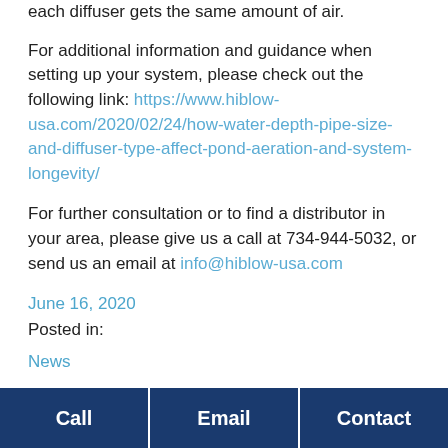each diffuser gets the same amount of air.
For additional information and guidance when setting up your system, please check out the following link: https://www.hiblow-usa.com/2020/02/24/how-water-depth-pipe-size-and-diffuser-type-affect-pond-aeration-and-system-longevity/
For further consultation or to find a distributor in your area, please give us a call at 734-944-5032, or send us an email at info@hiblow-usa.com
June 16, 2020
Posted in:
News
Call  Email  Contact